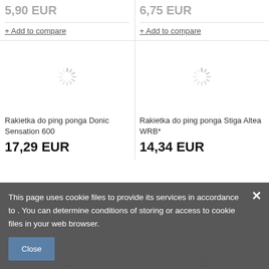5,90 EUR
6,75 EUR
+ Add to compare
+ Add to compare
[Figure (illustration): Loading spinner icon (gray radial lines)]
[Figure (illustration): Loading spinner icon (gray radial lines)]
Rakietka do ping ponga Donic Sensation 600
Rakietka do ping ponga Stiga Altea WRB*
17,29 EUR
14,34 EUR
This page uses cookie files to provide its services in accordance to . You can determine conditions of storing or access to cookie files in your web browser.
Close
[Figure (illustration): Loading spinner icon (gray radial lines) - bottom left]
[Figure (illustration): Loading spinner icon (gray radial lines) - bottom right]